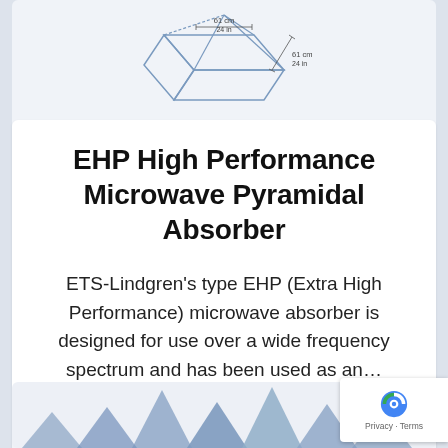[Figure (engineering-diagram): Line drawing of a pyramidal absorber block shown in 3D perspective with dimension annotations: 61 cm / 24 in on two sides]
EHP High Performance Microwave Pyramidal Absorber
ETS-Lindgren's type EHP (Extra High Performance) microwave absorber is designed for use over a wide frequency spectrum and has been used as an…
FIND OUT MORE
[Figure (illustration): Bottom portion showing tops of pyramidal microwave absorbers in blue-grey color]